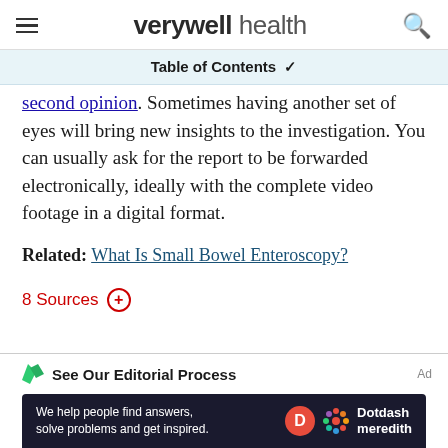verywell health
Table of Contents
second opinion. Sometimes having another set of eyes will bring new insights to the investigation. You can usually ask for the report to be forwarded electronically, ideally with the complete video footage in a digital format.
Related: What Is Small Bowel Enteroscopy?
8 Sources
See Our Editorial Process
[Figure (screenshot): Dotdash Meredith advertisement banner: 'We help people find answers, solve problems and get inspired.']